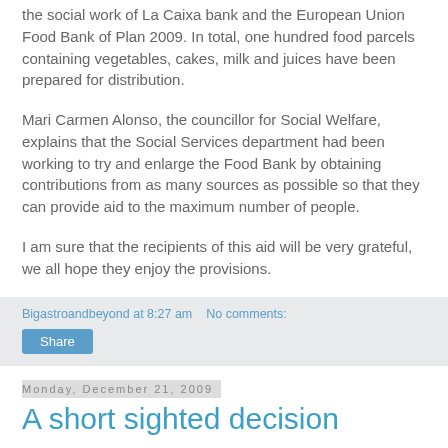the social work of La Caixa bank and the European Union Food Bank of Plan 2009. In total, one hundred food parcels containing vegetables, cakes, milk and juices have been prepared for distribution.
Mari Carmen Alonso, the councillor for Social Welfare, explains that the Social Services department had been working to try and enlarge the Food Bank by obtaining contributions from as many sources as possible so that they can provide aid to the maximum number of people.
I am sure that the recipients of this aid will be very grateful, we all hope they enjoy the provisions.
Bigastroandbeyond at 8:27 am   No comments:
Share
Monday, December 21, 2009
A short sighted decision